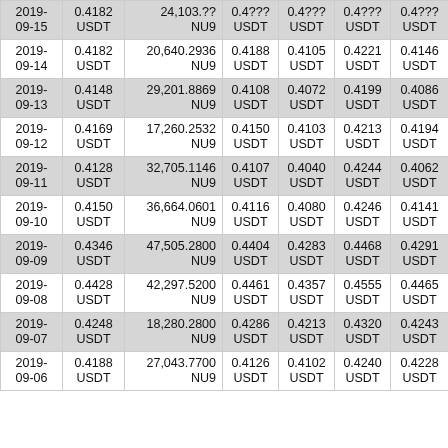| Date | Close | Volume | Open | Low | High | ? |
| --- | --- | --- | --- | --- | --- | --- |
| 2019-09-15 | 0.4182 USDT | 24,103.???? NU9 | 0.4??? USDT | 0.4??? USDT | 0.4??? USDT | 0.4??? USDT |
| 2019-09-14 | 0.4182 USDT | 20,640.2936 NU9 | 0.4188 USDT | 0.4105 USDT | 0.4221 USDT | 0.4146 USDT |
| 2019-09-13 | 0.4148 USDT | 29,201.8869 NU9 | 0.4108 USDT | 0.4072 USDT | 0.4199 USDT | 0.4086 USDT |
| 2019-09-12 | 0.4169 USDT | 17,260.2532 NU9 | 0.4150 USDT | 0.4103 USDT | 0.4213 USDT | 0.4194 USDT |
| 2019-09-11 | 0.4128 USDT | 32,705.1146 NU9 | 0.4107 USDT | 0.4040 USDT | 0.4244 USDT | 0.4062 USDT |
| 2019-09-10 | 0.4150 USDT | 36,664.0601 NU9 | 0.4116 USDT | 0.4080 USDT | 0.4246 USDT | 0.4141 USDT |
| 2019-09-09 | 0.4346 USDT | 47,505.2800 NU9 | 0.4404 USDT | 0.4283 USDT | 0.4468 USDT | 0.4291 USDT |
| 2019-09-08 | 0.4428 USDT | 42,297.5200 NU9 | 0.4461 USDT | 0.4357 USDT | 0.4555 USDT | 0.4465 USDT |
| 2019-09-07 | 0.4248 USDT | 18,280.2800 NU9 | 0.4286 USDT | 0.4213 USDT | 0.4320 USDT | 0.4243 USDT |
| 2019-09-06 | 0.4188 USDT | 27,043.7700 NU9 | 0.4126 USDT | 0.4102 USDT | 0.4240 USDT | 0.4228 USDT |